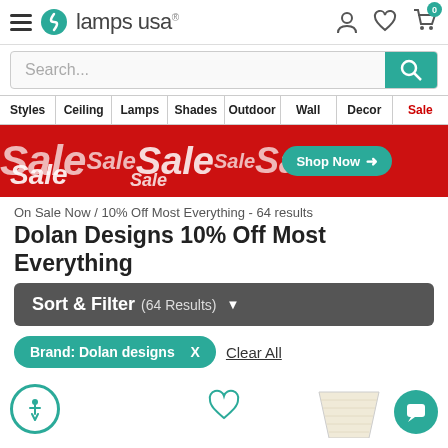[Figure (screenshot): Lamps USA website header with logo, hamburger menu, user/heart/cart icons]
[Figure (screenshot): Search bar with teal search button]
[Figure (screenshot): Navigation bar: Styles, Ceiling, Lamps, Shades, Outdoor, Wall, Decor, Sale]
[Figure (screenshot): Red sale banner with repeated Sale text and Shop Now button]
On Sale Now / 10% Off Most Everything - 64 results
Dolan Designs 10% Off Most Everything
[Figure (screenshot): Sort & Filter (64 Results) dropdown bar]
[Figure (screenshot): Brand: Dolan designs X tag and Clear All link]
[Figure (screenshot): Bottom row with accessibility icon, heart icon, lamp shade product image, and chat button]